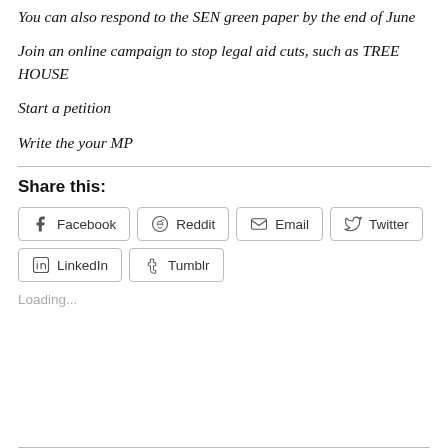You can also respond to the SEN green paper by the end of June
Join an online campaign to stop legal aid cuts, such as TREE HOUSE
Start a petition
Write the your MP
Share this:
Facebook  Reddit  Email  Twitter  LinkedIn  Tumblr
Loading...